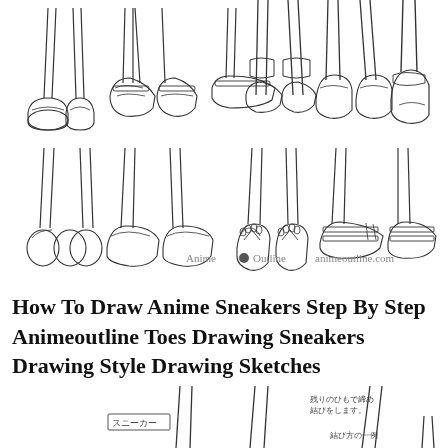[Figure (illustration): Line art drawings of anime-style feet/legs wearing various footwear: loafers, sandals, socks, boots, bare feet, slippers, flip-flops. Two rows of illustrations showing front and side views. Watermark reads 'Anime Outline animeoutline.com']
How To Draw Anime Sneakers Step By Step Animeoutline Toes Drawing Sneakers Drawing Style Drawing Sketches
[Figure (illustration): Bottom portion of drawing tutorial page showing partial anime leg/sneaker sketches with Japanese text labels: スニーカー (sneaker), 結び方の一例 (example of tying method), 残りのひもで締め結びをします (tie the remaining lace)]